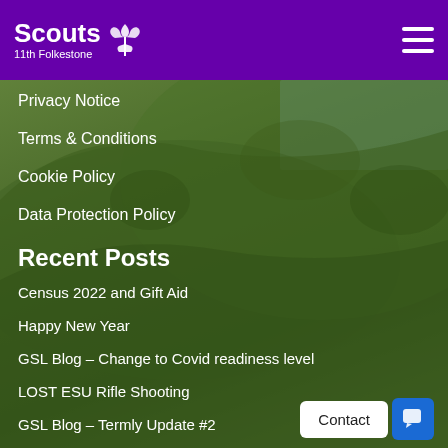Scouts 11th Folkestone
[Figure (photo): Green hillside landscape with trees and shrubs, natural outdoor scenery, blue sky visible in upper right]
Privacy Notice
Terms & Conditions
Cookie Policy
Data Protection Policy
Recent Posts
Census 2022 and Gift Aid
Happy New Year
GSL Blog – Change to Covid readiness level
LOST ESU Rifle Shooting
GSL Blog – Termly Update #2
Group Mini-sites